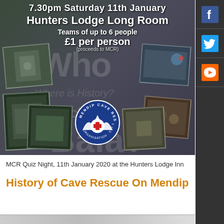[Figure (infographic): MCR Quiz Night poster collage image with photo montage of caving scenes and Mendip Cave Rescue logo. Text overlay reads: 7.30pm Saturday 11th January / Hunters Lodge Long Room / Teams of up to 6 people / £1 per person / (proceeds to MCR). Watermark letters 'Who', 'Where is History?', 'was School', 'Bala?' in background.]
MCR Quiz Night, 11th January 2020 at the Hunters Lodge Inn
History of Cave Rescue On Mendip